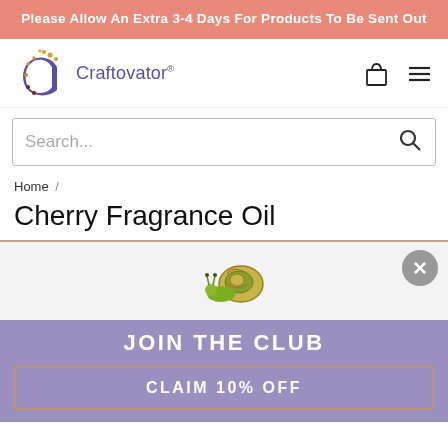Please Allow An Extra 3-4 Days For Products To Be Sent Out
[Figure (logo): Craftovator logo with stylized C letter and brand name]
Search...
Home /
Cherry Fragrance Oil
[Figure (illustration): Popup overlay showing a snail illustration on white background with close button, JOIN THE CLUB heading, and CLAIM 10% OFF button on purple background]